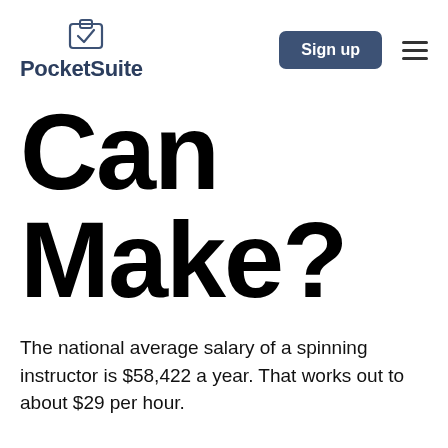PocketSuite  Sign up
Can Make?
The national average salary of a spinning instructor is $58,422 a year. That works out to about $29 per hour.